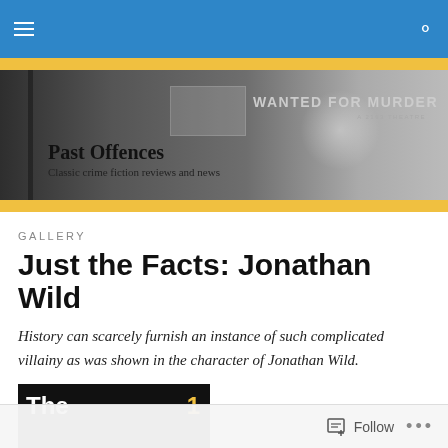Navigation bar with hamburger menu and search icon
[Figure (screenshot): Black and white banner image of a city street scene with 'WANTED FOR MURDER' sign in background. Overlaid text reads 'Past Offences' and 'Classic crime fiction reviews and news']
GALLERY
Just the Facts: Jonathan Wild
History can scarcely furnish an instance of such complicated villainy as was shown in the character of Jonathan Wild.
[Figure (photo): Partial book cover showing 'The' text and number '1' on dark background]
Follow   ...